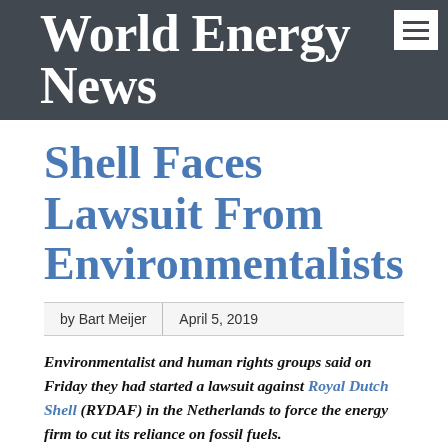World Energy News
Shell Faces Lawsuit From Environmentalists
by Bart Meijer | April 5, 2019
Environmentalist and human rights groups said on Friday they had started a lawsuit against Royal Dutch Shell (RYDAF) in the Netherlands to force the energy firm to cut its reliance on fossil fuels.
The groups, including Greenpeace and Friends of the Earth